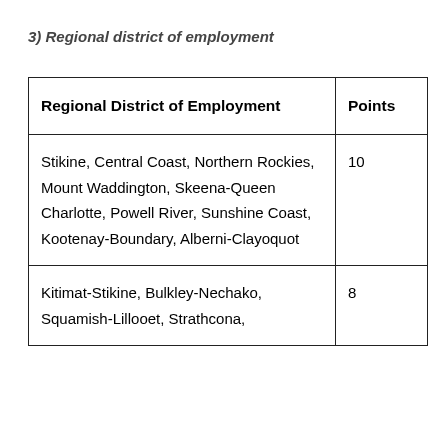3) Regional district of employment
| Regional District of Employment | Points |
| --- | --- |
| Stikine, Central Coast, Northern Rockies, Mount Waddington, Skeena-Queen Charlotte, Powell River, Sunshine Coast, Kootenay-Boundary, Alberni-Clayoquot | 10 |
| Kitimat-Stikine, Bulkley-Nechako, Squamish-Lillooet, Strathcona, | 8 |